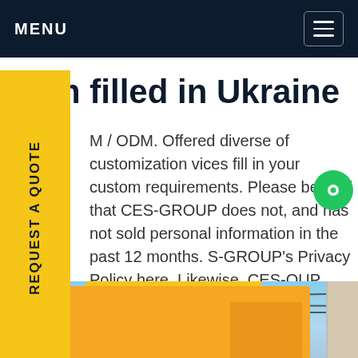MENU
odm filled in Ukraine
M / ODM. Offered diverse of customization vices fill in your custom requirements. Please be ised that CES-GROUP does not, and has not sold personal information in the past 12 months. S-GROUP's Privacy Policy here. Likewise, CES-OUP does not have any future plans to sell sonal information.Get price
[Figure (photo): Yellow truck parked outdoors under blue sky with electrical wires overhead and a building on the right]